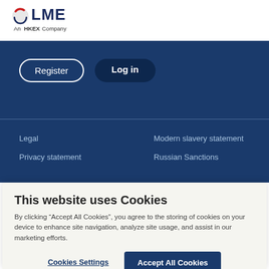[Figure (logo): LME (London Metal Exchange) logo with red circular arc icon. Text reads 'LME' in dark blue bold letters, and below 'An HKEX Company' in smaller dark text.]
Register
Log in
Legal
Modern slavery statement
Privacy statement
Russian Sanctions
This website uses Cookies
By clicking “Accept All Cookies”, you agree to the storing of cookies on your device to enhance site navigation, analyze site usage, and assist in our marketing efforts.
Cookies Settings
Accept All Cookies